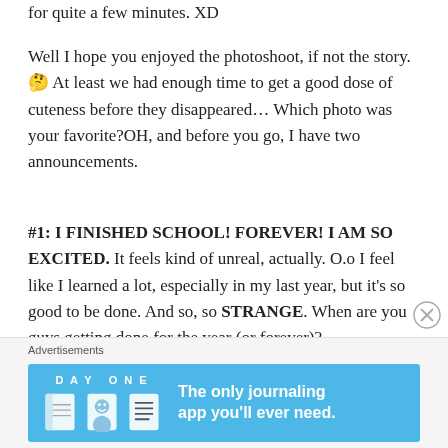for quite a few minutes. XD
Well I hope you enjoyed the photoshoot, if not the story. 🤔 At least we had enough time to get a good dose of cuteness before they disappeared… Which photo was your favorite?OH, and before you go, I have two announcements.
#1: I FINISHED SCHOOL! FOREVER! I AM SO EXCITED. It feels kind of unreal, actually. O.o I feel like I learned a lot, especially in my last year, but it's so good to be done. And so, so STRANGE. When are you guys getting done for the year (or forever)?
[Figure (screenshot): Advertisement banner for Day One journaling app with blue background, showing app icons and text 'The only journaling app you'll ever need.']
Advertisements